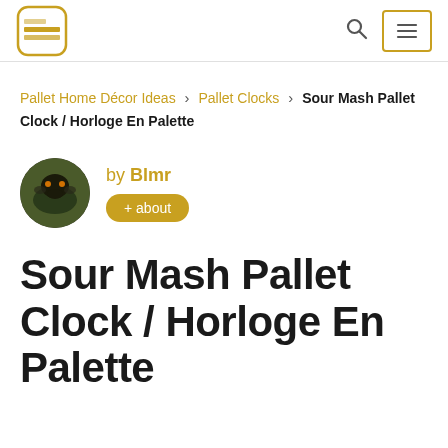Logo and navigation header with search and menu icons
Pallet Home Décor Ideas › Pallet Clocks › Sour Mash Pallet Clock / Horloge En Palette
by Blmr + about
Sour Mash Pallet Clock / Horloge En Palette